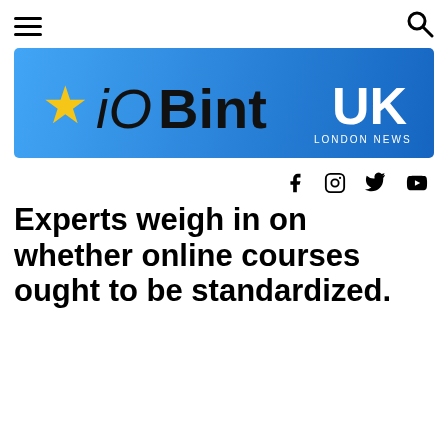[Figure (logo): iOBint UK London News logo banner on blue gradient background with star icon]
Experts weigh in on whether online courses ought to be standardized.